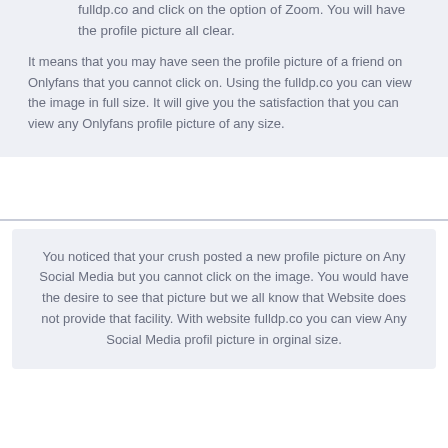fulldp.co and click on the option of Zoom. You will have the profile picture all clear.
It means that you may have seen the profile picture of a friend on Onlyfans that you cannot click on. Using the fulldp.co you can view the image in full size. It will give you the satisfaction that you can view any Onlyfans profile picture of any size.
You noticed that your crush posted a new profile picture on Any Social Media but you cannot click on the image. You would have the desire to see that picture but we all know that Website does not provide that facility. With website fulldp.co you can view Any Social Media profil picture in orginal size.